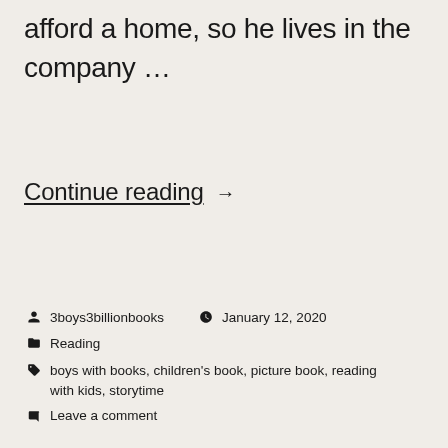afford a home, so he lives in the company …
Continue reading →
3boys3billionbooks   January 12, 2020
Reading
boys with books, children's book, picture book, reading with kids, storytime
Leave a comment